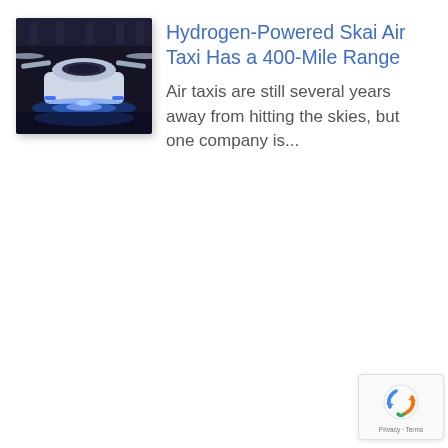[Figure (photo): Dark photo of a futuristic hydrogen-powered air taxi vehicle with blue glowing lights, parked in a hangar-like setting.]
Hydrogen-Powered Skai Air Taxi Has a 400-Mile Range
Air taxis are still several years away from hitting the skies, but one company is...